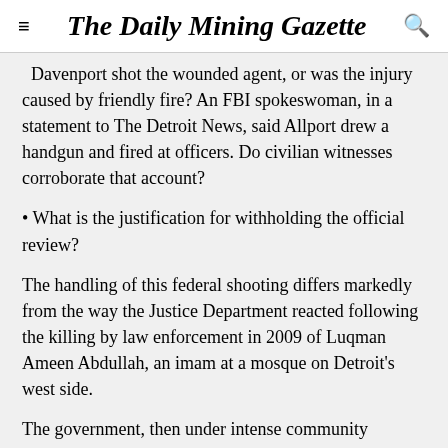The Daily Mining Gazette
Davenport shot the wounded agent, or was the injury caused by friendly fire? An FBI spokeswoman, in a statement to The Detroit News, said Allport drew a handgun and fired at officers. Do civilian witnesses corroborate that account?
• What is the justification for withholding the official review?
The handling of this federal shooting differs markedly from the way the Justice Department reacted following the killing by law enforcement in 2009 of Luqman Ameen Abdullah, an imam at a mosque on Detroit's west side.
The government, then under intense community